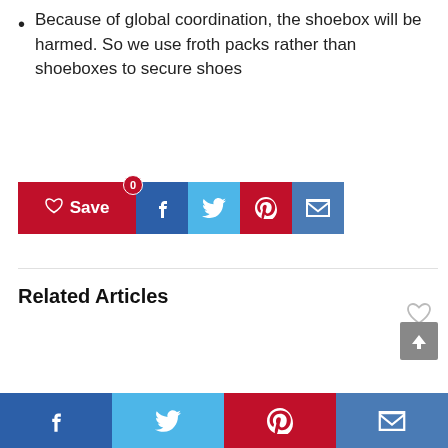Because of global coordination, the shoebox will be harmed. So we use froth packs rather than shoeboxes to secure shoes
[Figure (screenshot): Social share buttons row: Save (red with heart), Facebook (dark blue), Twitter (light blue), Pinterest (red), Email (blue)]
Related Articles
[Figure (screenshot): Bottom navigation bar with Facebook, Twitter, Pinterest, and Email share icons]